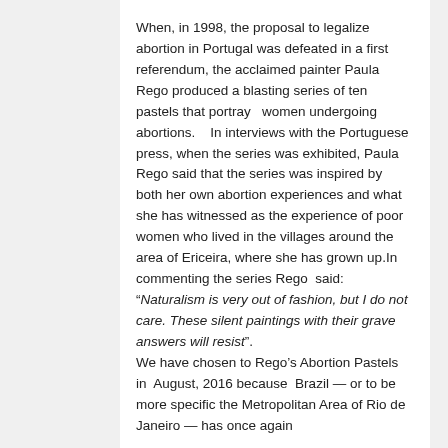When,  in 1998,  the proposal to legalize abortion in Portugal was defeated in a first referendum, the acclaimed painter Paula Rego produced a blasting series of ten pastels that portray   women undergoing abortions.    In interviews with the Portuguese press, when the series was exhibited, Paula Rego said that the series was inspired by both her own abortion experiences and what she has witnessed as the experience of poor women who lived in the villages around the area of Ericeira, where she has grown up.In commenting the series Rego  said: “Naturalism is very out of fashion, but I do not care. These silent paintings with their grave answers will resist”.
We have chosen to Rego’s Abortion Pastels in  August, 2016 because  Brazil — or to be more specific the Metropolitan Area of Rio de Janeiro — has once again